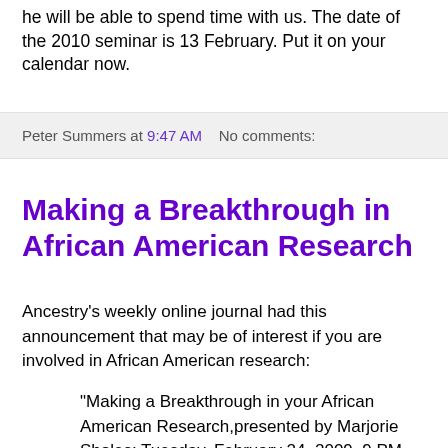he will be able to spend time with us. The date of the 2010 seminar is 13 February. Put it on your calendar now.
Peter Summers at 9:47 AM    No comments:
Making a Breakthrough in African American Research
Ancestry's weekly online journal had this announcement that may be of interest if you are involved in African American research:
"Making a Breakthrough in your African American Research,presented by Marjorie Sholes; Tuesday, February 24, 2009, 9 PM EDT. African American research poses unique challenges. That's why Ancestry.com and Wal-art have partnered up to present a free, one-hour webinar on researching your black roots. African